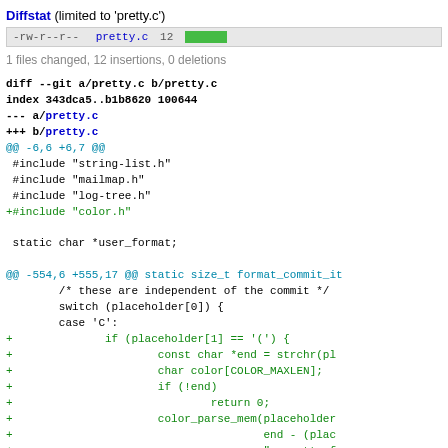Diffstat (limited to 'pretty.c')
-rw-r--r-- pretty.c 12 [green bar]
1 files changed, 12 insertions, 0 deletions
diff --git a/pretty.c b/pretty.c
index 343dca5..b1b8620 100644
--- a/pretty.c
+++ b/pretty.c
@@ -6,6 +6,7 @@
 #include "string-list.h"
 #include "mailmap.h"
 #include "log-tree.h"
+#include "color.h"

 static char *user_format;

@@ -554,6 +555,17 @@ static size_t format_commit_it
         /* these are independent of the commit */
         switch (placeholder[0]) {
         case 'C':
+               if (placeholder[1] == '(') {
+                       const char *end = strchr(pl
+                       char color[COLOR_MAXLEN];
+                       if (!end)
+                               return 0;
+                       color_parse_mem(placeholder
+                                       end - (plac
+                                       "--pretty f
+               strbuf_addstr(sb, color);